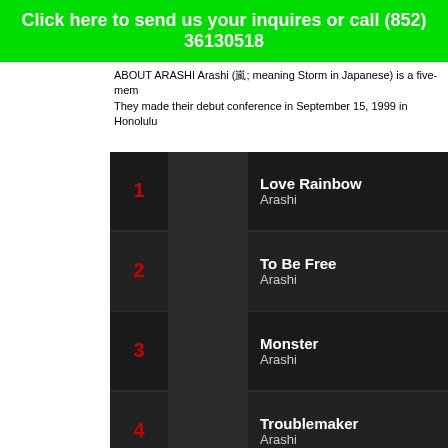Click here to send us your inquires or call (852) 36130518
ABOUT ARASHI Arashi (嵐; meaning Storm in Japanese) is a five-mem... They made their debut conference in September 15, 1999 in Honolulu...
1 Love Rainbow Arashi
2 To Be Free Arashi
3 Monster Arashi
4 Troublemaker Arashi
5 My Girl Arashi
6 Everything Arashi
7 Ashita No Kioku Arashi
8 Crazy Moon - Kimi Wa Muteki...